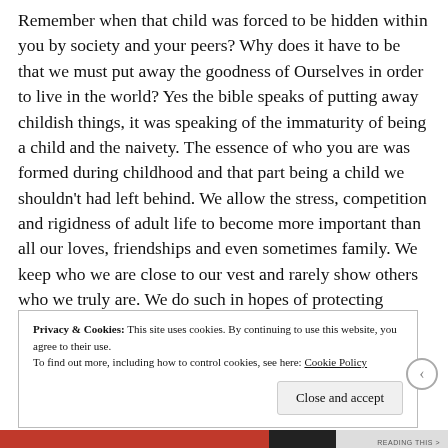Remember when that child was forced to be hidden within you by society and your peers? Why does it have to be that we must put away the goodness of Ourselves in order to live in the world? Yes the bible speaks of putting away childish things, it was speaking of the immaturity of being a child and the naivety. The essence of who you are was formed during childhood and that part being a child we shouldn't had left behind. We allow the stress, competition and rigidness of adult life to become more important than all our loves, friendships and even sometimes family. We keep who we are close to our vest and rarely show others who we truly are. We do such in hopes of protecting ourselves but in the end all we do is lose the essence of who we are.
Privacy & Cookies: This site uses cookies. By continuing to use this website, you agree to their use. To find out more, including how to control cookies, see here: Cookie Policy
Close and accept